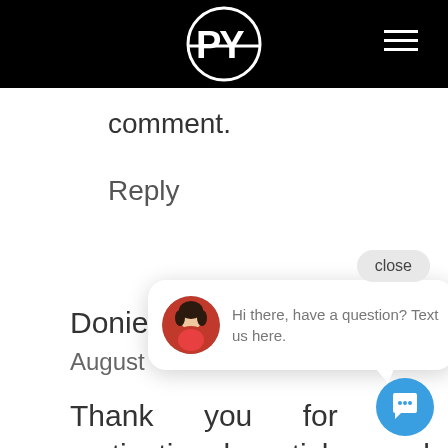[Figure (logo): PY logo in white circle on black header bar with hamburger menu icon on right]
comment.
Reply
close
Donie sa
August
[Figure (illustration): Chat popup with woman avatar photo and text: Hi there, have a question? Text us here.]
Thank you for the motivational article and your time and creati
manning out a gym with The jum